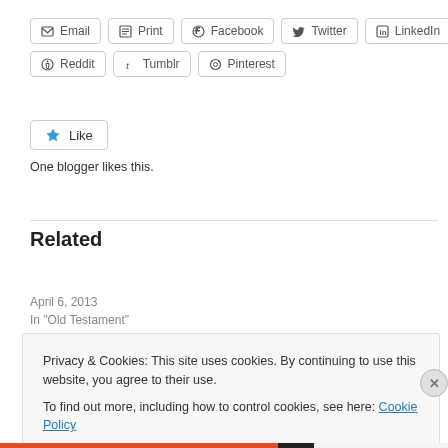Email | Print | Facebook | Twitter | LinkedIn | Reddit | Tumblr | Pinterest
Like
One blogger likes this.
Related
Ezekiel 3:16 — The Watchman's Duty
April 6, 2013
In "Old Testament"
Privacy & Cookies: This site uses cookies. By continuing to use this website, you agree to their use.
To find out more, including how to control cookies, see here: Cookie Policy
Close and accept